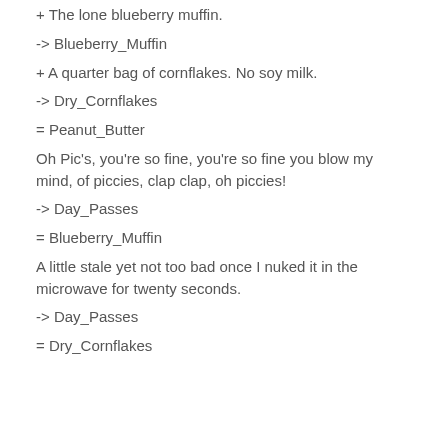+ The lone blueberry muffin.
-> Blueberry_Muffin
+ A quarter bag of cornflakes. No soy milk.
-> Dry_Cornflakes
= Peanut_Butter
Oh Pic's, you're so fine, you're so fine you blow my mind, of piccies, clap clap, oh piccies!
-> Day_Passes
= Blueberry_Muffin
A little stale yet not too bad once I nuked it in the microwave for twenty seconds.
-> Day_Passes
= Dry_Cornflakes